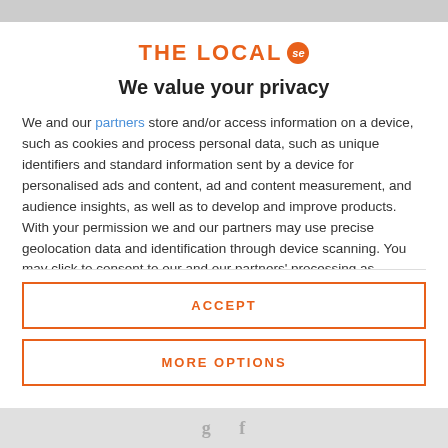[Figure (logo): THE LOCAL se logo with orange text and orange badge]
We value your privacy
We and our partners store and/or access information on a device, such as cookies and process personal data, such as unique identifiers and standard information sent by a device for personalised ads and content, ad and content measurement, and audience insights, as well as to develop and improve products. With your permission we and our partners may use precise geolocation data and identification through device scanning. You may click to consent to our and our partners' processing as described above. Alternatively you may access more detailed information and change your preferences before consenting
ACCEPT
MORE OPTIONS